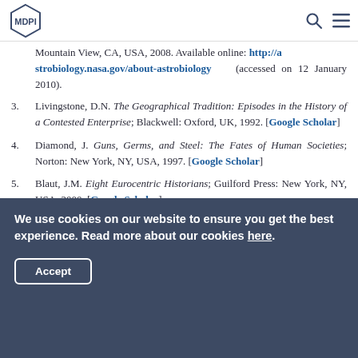MDPI
Mountain View, CA, USA, 2008. Available online: http://astrobiology.nasa.gov/about-astrobiology (accessed on 12 January 2010).
3. Livingstone, D.N. The Geographical Tradition: Episodes in the History of a Contested Enterprise; Blackwell: Oxford, UK, 1992. [Google Scholar]
4. Diamond, J. Guns, Germs, and Steel: The Fates of Human Societies; Norton: New York, NY, USA, 1997. [Google Scholar]
5. Blaut, J.M. Eight Eurocentric Historians; Guilford Press: New York, NY, USA, 2000. [Google Scholar]
We use cookies on our website to ensure you get the best experience. Read more about our cookies here. Accept